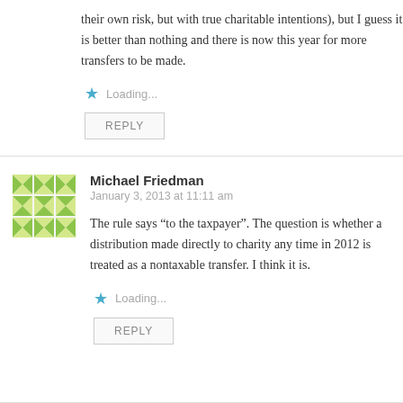their own risk, but with true charitable intentions), but I guess it is better than nothing and there is now this year for more transfers to be made.
Loading...
REPLY
Michael Friedman
January 3, 2013 at 11:11 am
The rule says “to the taxpayer”. The question is whether a distribution made directly to charity any time in 2012 is treated as a nontaxable transfer. I think it is.
Loading...
REPLY